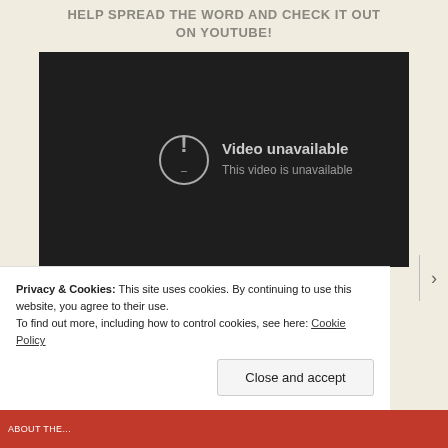HELP SPREAD THE WORD AND CHECK IT OUT ON YOUTUBE!
[Figure (screenshot): Embedded YouTube video player showing 'Video unavailable – This video is unavailable' message on a dark background with a circle-exclamation icon.]
Privacy & Cookies: This site uses cookies. By continuing to use this website, you agree to their use.
To find out more, including how to control cookies, see here: Cookie Policy
Close and accept